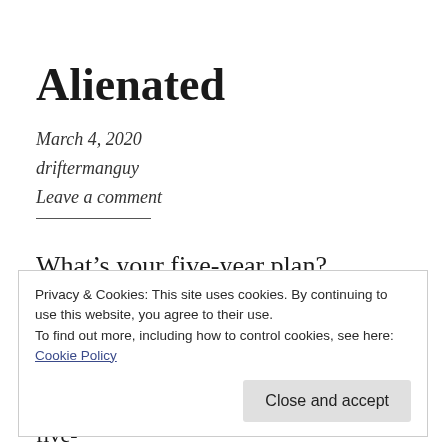Alienated
March 4, 2020
driftermanguy
Leave a comment
What's your five-year plan?
Privacy & Cookies: This site uses cookies. By continuing to use this website, you agree to their use.
To find out more, including how to control cookies, see here:
Cookie Policy
Close and accept
Life is a lie so what's the point in having a five-